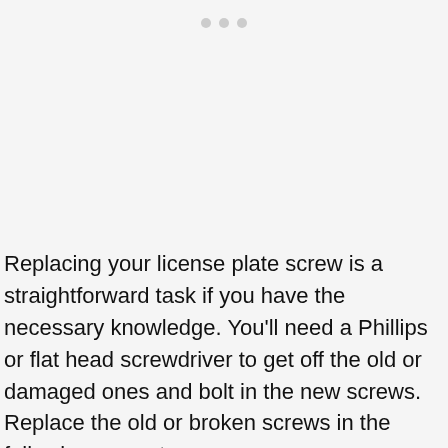• • •
Replacing your license plate screw is a straightforward task if you have the necessary knowledge. You'll need a Phillips or flat head screwdriver to get off the old or damaged ones and bolt in the new screws. Replace the old or broken screws in the following easy steps:
To begin, examine the rear license plate. Unscrew the